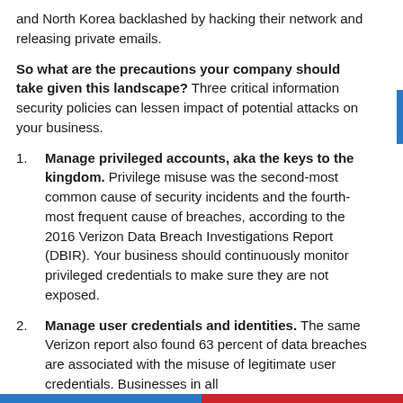and North Korea backlashed by hacking their network and releasing private emails.
So what are the precautions your company should take given this landscape? Three critical information security policies can lessen impact of potential attacks on your business.
1. Manage privileged accounts, aka the keys to the kingdom. Privilege misuse was the second-most common cause of security incidents and the fourth-most frequent cause of breaches, according to the 2016 Verizon Data Breach Investigations Report (DBIR). Your business should continuously monitor privileged credentials to make sure they are not exposed.
2. Manage user credentials and identities. The same Verizon report also found 63 percent of data breaches are associated with the misuse of legitimate user credentials. Businesses in all